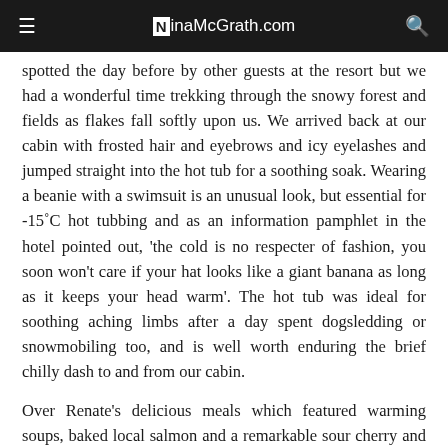NinaMcGrath.com
spotted the day before by other guests at the resort but we had a wonderful time trekking through the snowy forest and fields as flakes fall softly upon us. We arrived back at our cabin with frosted hair and eyebrows and icy eyelashes and jumped straight into the hot tub for a soothing soak. Wearing a beanie with a swimsuit is an unusual look, but essential for -15˚C hot tubbing and as an information pamphlet in the hotel pointed out, 'the cold is no respecter of fashion, you soon won't care if your hat looks like a giant banana as long as it keeps your head warm'. The hot tub was ideal for soothing aching limbs after a day spent dogsledding or snowmobiling too, and is well worth enduring the brief chilly dash to and from our cabin.
Over Renate's delicious meals which featured warming soups, baked local salmon and a remarkable sour cherry and cream dessert, we traded tales with our fellow travellers. Wolfgang checked the weather to give us an idea when to look for the lights. We had a little luck with the lights on our first night, spotting a brief squiggle of intense green, but mostly we looked